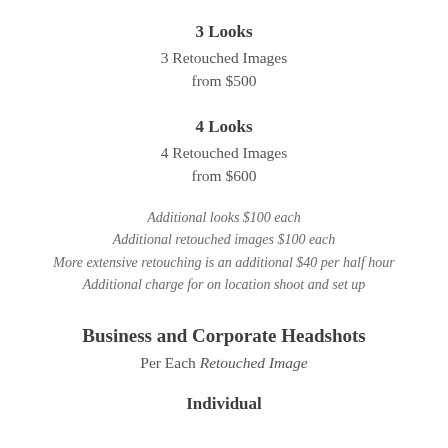3 Looks
3 Retouched Images
from $500
4 Looks
4 Retouched Images
from $600
Additional looks $100 each
Additional retouched images $100 each
More extensive retouching is an additional $40 per half hour
Additional charge for on location shoot and set up
Business and Corporate Headshots
Per Each Retouched Image
Individual